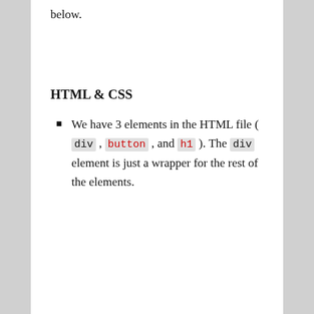below.
HTML & CSS
We have 3 elements in the HTML file ( div , button , and h1 ). The div element is just a wrapper for the rest of the elements.